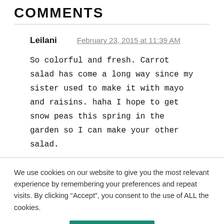COMMENTS
Leilani   February 23, 2015 at 11:39 AM
So colorful and fresh. Carrot salad has come a long way since my sister used to make it with mayo and raisins. haha I hope to get snow peas this spring in the garden so I can make your other salad.
We use cookies on our website to give you the most relevant experience by remembering your preferences and repeat visits. By clicking “Accept”, you consent to the use of ALL the cookies.